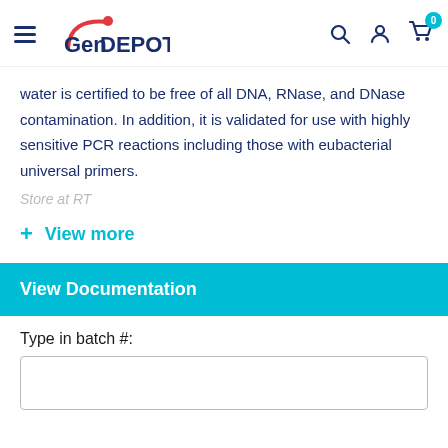GenDEPOT
water is certified to be free of all DNA, RNase, and DNase contamination. In addition, it is validated for use with highly sensitive PCR reactions including those with eubacterial universal primers.
Store at RT
+ View more
View Documentation
Type in batch #: